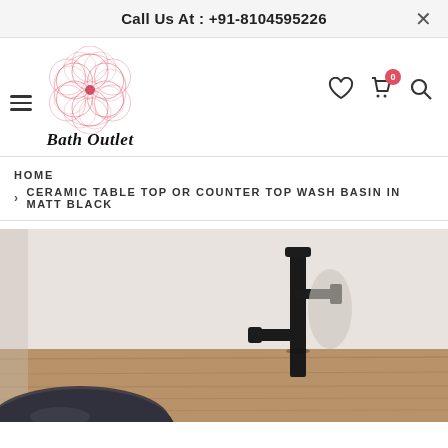Call Us At : +91-8104595226
[Figure (logo): Bath Outlet store logo with red spirograph circle pattern above italic text 'Bath Outlet']
HOME
CERAMIC TABLE TOP OR COUNTER TOP WASH BASIN IN MATT BLACK
[Figure (photo): Photo of a matte black tall faucet/tap on a wooden countertop shelf with a dark ceramic bowl wash basin partially visible at the bottom]